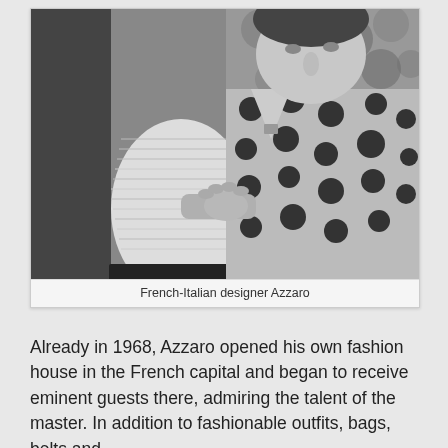[Figure (photo): Black and white photograph of French-Italian designer Azzaro wearing a polka-dot shirt, holding what appears to be a large white hat or garment. A person is partially visible on the left.]
French-Italian designer Azzaro
Already in 1968, Azzaro opened his own fashion house in the French capital and began to receive eminent guests there, admiring the talent of the master. In addition to fashionable outfits, bags, belts and perfumes, he also began designing fragrances and